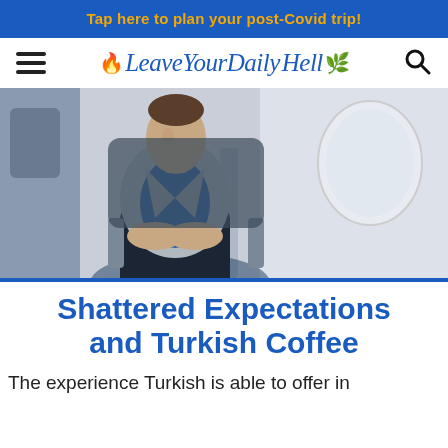Tap here to plan your post-Covid trip!
[Figure (logo): Leave Your Daily Hell travel blog logo with flame emoji and leaf icon, script font in blue]
[Figure (photo): Man in grey blazer and blue shirt seated in airplane business class seat, looking upward, with white cabin wall behind him]
Shattered Expectations and Turkish Coffee
The experience Turkish is able to offer in